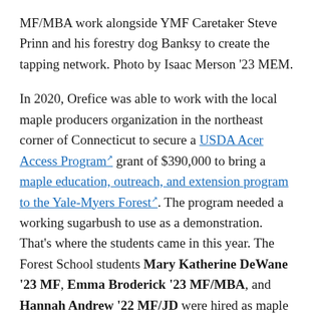MF/MBA work alongside YMF Caretaker Steve Prinn and his forestry dog Banksy to create the tapping network. Photo by Isaac Merson '23 MEM.
In 2020, Orefice was able to work with the local maple producers organization in the northeast corner of Connecticut to secure a USDA Acer Access Program grant of $390,000 to bring a maple education, outreach, and extension program to the Yale-Myers Forest. The program needed a working sugarbush to use as a demonstration. That's where the students came in this year. The Forest School students Mary Katherine DeWane '23 MF, Emma Broderick '23 MF/MBA, and Hannah Andrew '22 MF/JD were hired as maple managers this fall. Broderick and DeWane joined forest caretaker Steve Prinn in setting up taps on 109 sugar